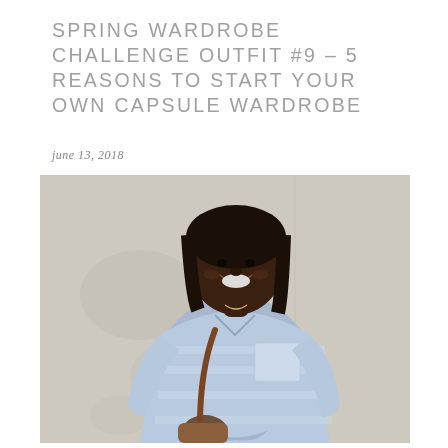SPRING WARDROBE CHALLENGE OUTFIT #9 – 5 REASONS TO START YOUR OWN CAPSULE WARDROBE
june 13, 2018
[Figure (photo): A smiling Black woman with dark hair and bangs wearing a light blue striped button-up shirt tied at the waist, carrying a brown crossbody bag, standing against a light gray/white textured wall.]